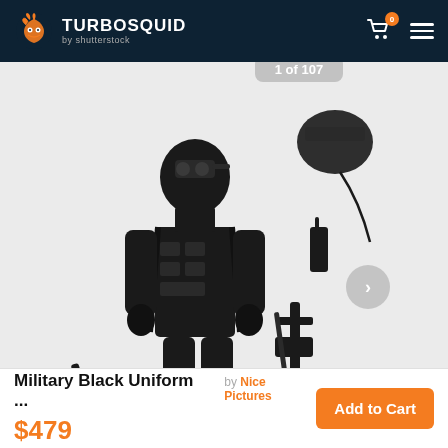TURBOSQUID by shutterstock
[Figure (photo): Military soldier in full black tactical gear with night vision helmet, body armor, and various weapons displayed around the figure including rifles, handguns, and a radio. Shows 1 of 107 images.]
Military Black Uniform ...
by Nice Pictures
$479
Add to Cart